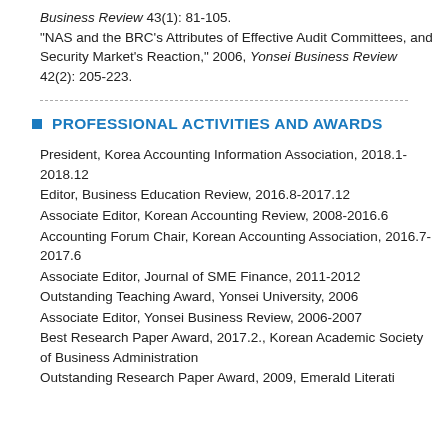Business Review 43(1): 81-105.
"NAS and the BRC's Attributes of Effective Audit Committees, and Security Market's Reaction," 2006, Yonsei Business Review 42(2): 205-223.
PROFESSIONAL ACTIVITIES AND AWARDS
President, Korea Accounting Information Association, 2018.1-2018.12
Editor, Business Education Review, 2016.8-2017.12
Associate Editor, Korean Accounting Review, 2008-2016.6
Accounting Forum Chair, Korean Accounting Association, 2016.7-2017.6
Associate Editor, Journal of SME Finance, 2011-2012
Outstanding Teaching Award, Yonsei University, 2006
Associate Editor, Yonsei Business Review, 2006-2007
Best Research Paper Award, 2017.2., Korean Academic Society of Business Administration
Outstanding Research Paper Award, 2009, Emerald Literati